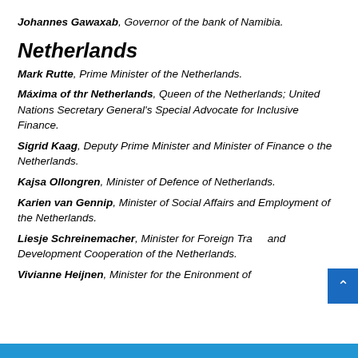Johannes Gawaxab, Governor of the bank of Namibia.
Netherlands
Mark Rutte, Prime Minister of the Netherlands.
Máxima of thr Netherlands, Queen of the Netherlands; United Nations Secretary General's Special Advocate for Inclusive Finance.
Sigrid Kaag, Deputy Prime Minister and Minister of Finance o the Netherlands.
Kajsa Ollongren, Minister of Defence of Netherlands.
Karien van Gennip, Minister of Social Affairs and Employment of the Netherlands.
Liesje Schreinemacher, Minister for Foreign Trade and Development Cooperation of the Netherlands.
Vivianne Heijnen, Minister for the Enironment of